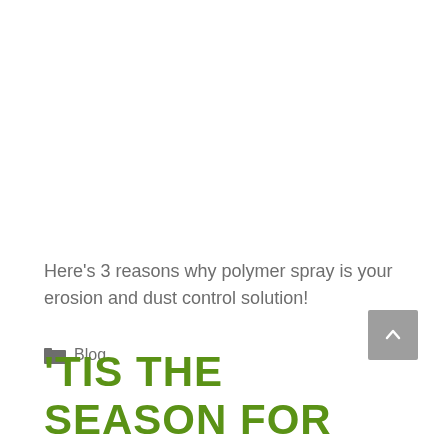Here's 3 reasons why polymer spray is your erosion and dust control solution!
Blog
'TIS THE SEASON FOR